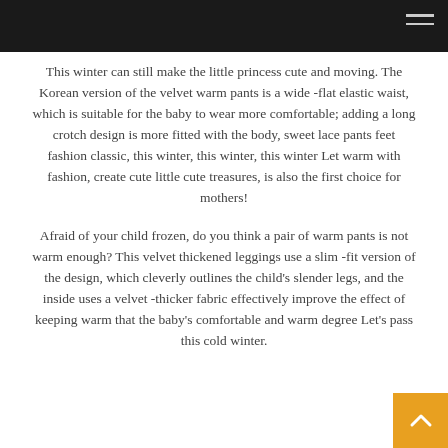This winter can still make the little princess cute and moving. The Korean version of the velvet warm pants is a wide -flat elastic waist, which is suitable for the baby to wear more comfortable; adding a long crotch design is more fitted with the body, sweet lace pants feet fashion classic, this winter, this winter, this winter Let warm with fashion, create cute little cute treasures, is also the first choice for mothers!
Afraid of your child frozen, do you think a pair of warm pants is not warm enough? This velvet thickened leggings use a slim -fit version of the design, which cleverly outlines the child's slender legs, and the inside uses a velvet -thicker fabric effectively improve the effect of keeping warm that the baby's comfortable and warm degree Let's pass this cold winter.